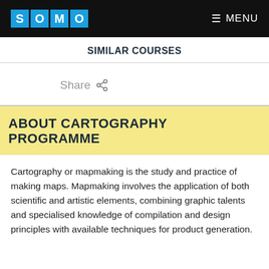SOMO   MENU
SIMILAR COURSES
Share
ABOUT CARTOGRAPHY PROGRAMME
Cartography or mapmaking is the study and practice of making maps. Mapmaking involves the application of both scientific and artistic elements, combining graphic talents and specialised knowledge of compilation and design principles with available techniques for product generation.